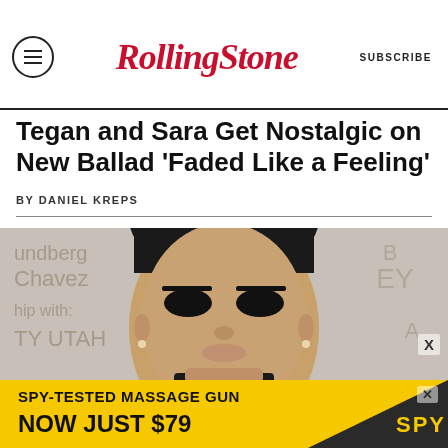Rolling Stone | SUBSCRIBE
Tegan and Sara Get Nostalgic on New Ballad ‘Faded Like a Feeling’
BY DANIEL KREPS
[Figure (photo): Close-up photo of a person with dark dramatic eye makeup, short dark hair, wearing a black turtleneck, photographed in front of a backdrop with partial text reading 'undberg', 'Chavez', 'hip with:', 'TY UTAH', 'EY']
SPY-TESTED MASSAGE GUN NOW JUST $79